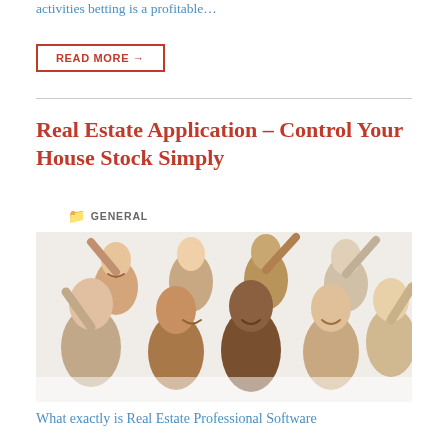activities betting is a profitable…
READ MORE →
Real Estate Application – Control Your House Stock Simply
GENERAL
[Figure (photo): Group of happy diverse people smiling and celebrating with arms raised, white background]
What exactly is Real Estate Professional Software